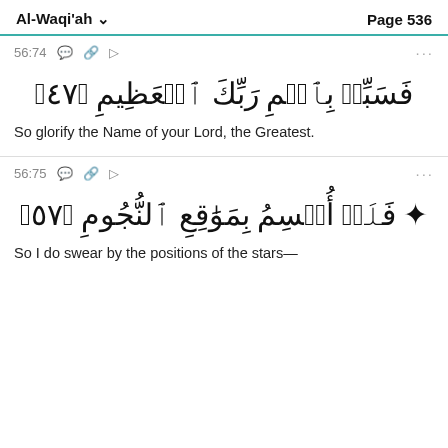Al-Waqi'ah   Page 536
56:74
فَسَبِّحۡ بِٱسۡمِ رَبِّكَ ٱلۡعَظِيمِ ٧٤
So glorify the Name of your Lord, the Greatest.
56:75
❁ فَلَاۤ أُقۡسِمُ بِمَوَٰقِعِ ٱلنُّجُومِ ٧٥
So I do swear by the positions of the stars—